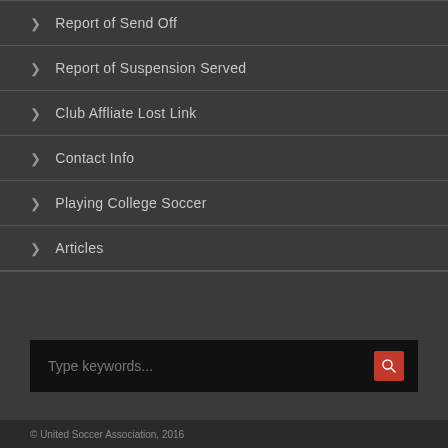Report of Send Off
Report of Suspension Served
Club Affliate Lost Link
Contact Info
Playing College Soccer
Articles
Type keywords...
© United Soccer Association, 2016